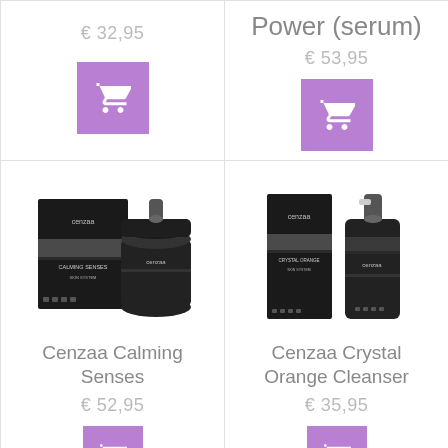€ 32,95
[Figure (illustration): Purple add-to-cart button with shopping cart icon]
Power (serum) € 53,95
[Figure (illustration): Purple add-to-cart button with shopping cart icon]
[Figure (photo): Cenzaa Calming Senses product: box and jar with dark packaging]
Cenzaa Calming Senses
€ 52,95
[Figure (illustration): Purple add-to-cart button with shopping cart icon (partially visible)]
[Figure (photo): Cenzaa Crystal Orange Cleanser product: box and pump bottle with dark packaging]
Cenzaa Crystal Orange Cleanser
€ 35,95
[Figure (illustration): Purple add-to-cart button with shopping cart icon (partially visible)]